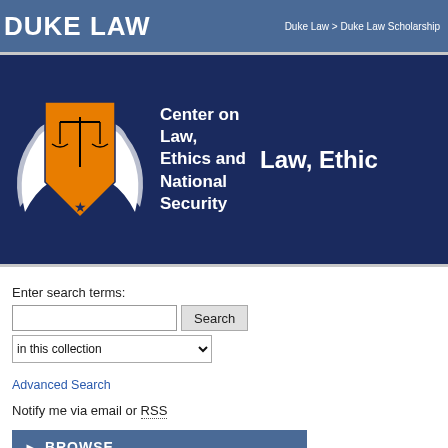DUKE LAW | Duke Law > Duke Law Scholarship
[Figure (logo): Center on Law, Ethics and National Security banner with shield logo featuring scales of justice and wings]
Enter search terms:
Search | in this collection
Advanced Search
Notify me via email or RSS
BROWSE
2020 | 25th Annual Nat